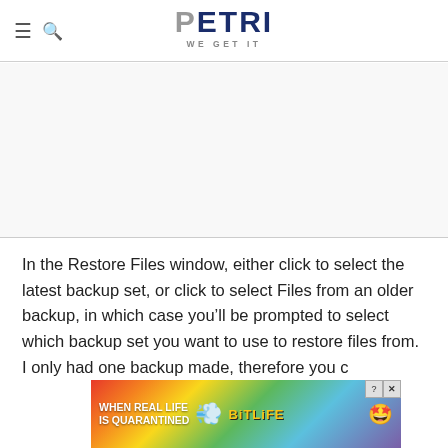PETRI — WE GET IT
[Figure (other): Advertisement placeholder area (blank white space)]
In the Restore Files window, either click to select the latest backup set, or click to select Files from an older backup, in which case you'll be prompted to select which backup set you want to use to restore files from. I only had one backup made, therefore you c
[Figure (other): BitLife advertisement banner with rainbow gradient background, text reading WHEN REAL LIFE IS QUARANTINED and BitLife logo with emoji character]